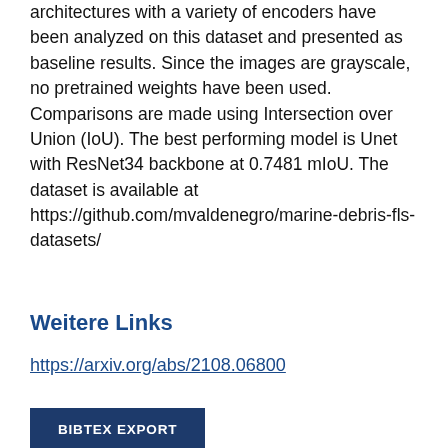architectures with a variety of encoders have been analyzed on this dataset and presented as baseline results. Since the images are grayscale, no pretrained weights have been used. Comparisons are made using Intersection over Union (IoU). The best performing model is Unet with ResNet34 backbone at 0.7481 mIoU. The dataset is available at https://github.com/mvaldenegro/marine-debris-fls-datasets/
Weitere Links
https://arxiv.org/abs/2108.06800
BIBTEX EXPORT